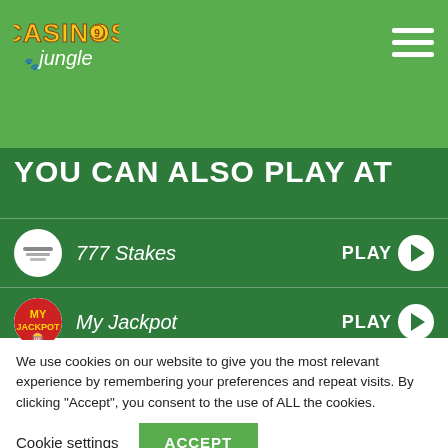[Figure (logo): Casinos Jungle logo - circular badge with yellow/orange text on green background]
YOU CAN ALSO PLAY AT
777 Stakes - PLAY
My Jackpot - PLAY
Slotomania - PLAY
We use cookies on our website to give you the most relevant experience by remembering your preferences and repeat visits. By clicking “Accept”, you consent to the use of ALL the cookies.
Cookie settings   ACCEPT